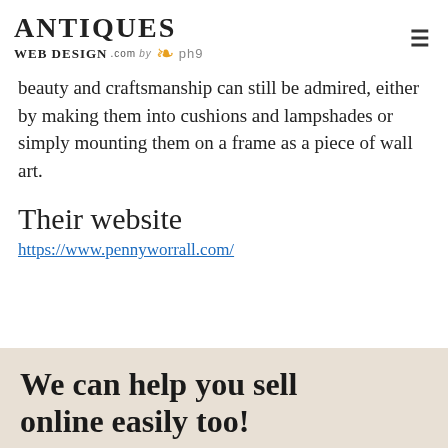ANTIQUES WEB DESIGN.com by ph9
beauty and craftsmanship can still be admired, either by making them into cushions and lampshades or simply mounting them on a frame as a piece of wall art.
Their website
https://www.pennyworrall.com/
We can help you sell online easily too!